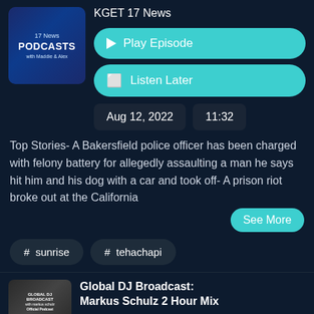[Figure (screenshot): KGET 17 News Podcasts thumbnail with 'with Maddie & Alex' text on dark blue background]
KGET 17 News
▶ Play Episode
🔖 Listen Later
Aug 12, 2022
11:32
Top Stories- A Bakersfield police officer has been charged with felony battery for allegedly assaulting a man he says hit him and his dog with a car and took off- A prison riot broke out at the California
See More
# sunrise
# tehachapi
[Figure (photo): Global DJ Broadcast podcast thumbnail with man's photo]
Global DJ Broadcast: Markus Schulz 2 Hour Mix